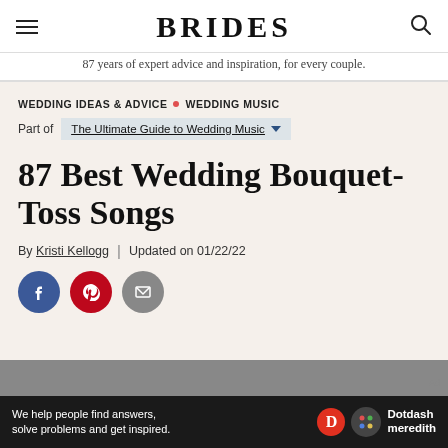BRIDES — 87 years of expert advice and inspiration, for every couple.
WEDDING IDEAS & ADVICE • WEDDING MUSIC
Part of The Ultimate Guide to Wedding Music
87 Best Wedding Bouquet-Toss Songs
By Kristi Kellogg | Updated on 01/22/22
[Figure (other): Social sharing buttons: Facebook, Pinterest, Email]
[Figure (other): Partial photo of wedding scene, gray background. Ad bar: We help people find answers, solve problems and get inspired. Dotdash meredith logo.]